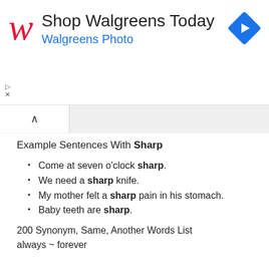[Figure (other): Walgreens advertisement banner with Walgreens cursive W logo, text 'Shop Walgreens Today' and 'Walgreens Photo', and a blue diamond navigation icon]
Example Sentences With Sharp
Come at seven o'clock sharp.
We need a sharp knife.
My mother felt a sharp pain in his stomach.
Baby teeth are sharp.
200 Synonym, Same, Another Words List
always ~ forever